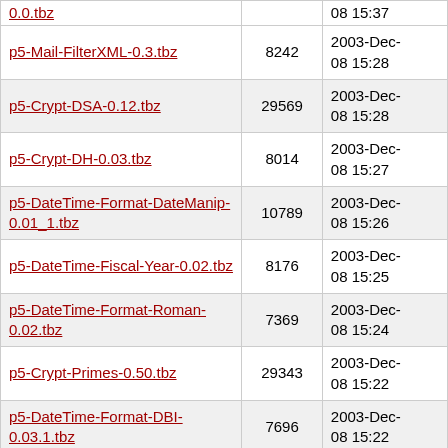| 0.0.tbz |  | 08 15:37 |
| p5-Mail-FilterXML-0.3.tbz | 8242 | 2003-Dec-08 15:28 |
| p5-Crypt-DSA-0.12.tbz | 29569 | 2003-Dec-08 15:28 |
| p5-Crypt-DH-0.03.tbz | 8014 | 2003-Dec-08 15:27 |
| p5-DateTime-Format-DateManip-0.01_1.tbz | 10789 | 2003-Dec-08 15:26 |
| p5-DateTime-Fiscal-Year-0.02.tbz | 8176 | 2003-Dec-08 15:25 |
| p5-DateTime-Format-Roman-0.02.tbz | 7369 | 2003-Dec-08 15:24 |
| p5-Crypt-Primes-0.50.tbz | 29343 | 2003-Dec-08 15:22 |
| p5-DateTime-Format-DBI-0.03.1.tbz | 7696 | 2003-Dec-08 15:22 |
| p5-DateTime-HiRes-0.01.tbz | 6088 | 2003-Dec-08 15:20 |
| p5-DateTime-Format-HTTP-0.35.tbz | 10290 | 2003-Dec-08 15:20 |
| p5-Class-DBI-0.94.tbz | 63278 | 2003-Dec-08 15:19 |